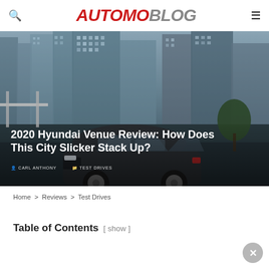AUTOMOBLOG
[Figure (photo): A dark gray Hyundai Venue SUV parked in an urban city setting with tall glass buildings in the background. The hero image spans the top portion of the article page.]
2020 Hyundai Venue Review: How Does This City Slicker Stack Up?
CARL ANTHONY   TEST DRIVES
Home > Reviews > Test Drives
Table of Contents [ show ]